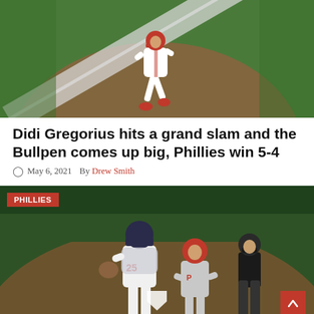[Figure (photo): Baseball player in red and white Phillies uniform running on the basepath, aerial/close view of the diamond with dirt and grass visible]
Didi Gregorius hits a grand slam and the Bullpen comes up big, Phillies win 5-4
May 6, 2021   By Drew Smith
[Figure (photo): Baseball scene at home plate: a Phillies player scoring while catcher wearing #25 and an umpire look on, at night game]